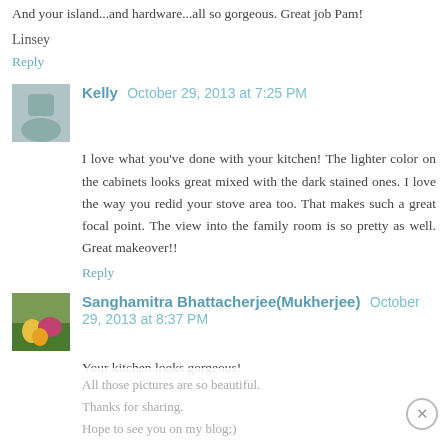And your island...and hardware...all so gorgeous. Great job Pam!
Linsey
Reply
Kelly  October 29, 2013 at 7:25 PM
I love what you've done with your kitchen! The lighter color on the cabinets looks great mixed with the dark stained ones. I love the way you redid your stove area too. That makes such a great focal point. The view into the family room is so pretty as well. Great makeover!!
Reply
Sanghamitra Bhattacherjee(Mukherjee)  October 29, 2013 at 8:37 PM
Your kitchen looks gorgeous!
All those pictures are so beautiful.
Thanks for sharing.
Hope to see you on my blog;)